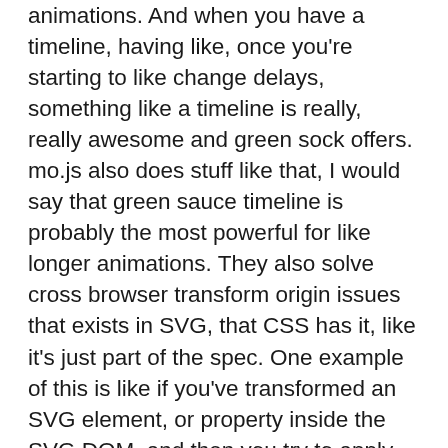animations. And when you have a timeline, having like, once you're starting to like change delays, something like a timeline is really, really awesome and green sock offers. mo.js also does stuff like that, I would say that green sauce timeline is probably the most powerful for like longer animations. They also solve cross browser transform origin issues that exists in SVG, that CSS has it, like it's just part of the spec. One example of this is like if you've transformed an SVG element, or property inside the SVG DOM, and then you try to apply another transform origin, the way that that spec is interpreted is really like counterintuitive, and Greenstock just like Pyxis that they've got, like, stuff that they're doing under the hood, like you like the way that you assumed it would work. applying those kinds of transitions over and over again, the more complex it is, the more you want a library that handle the stuff that you need. If it's just a couple of things, it doesn't really matter. To be honest. Like if you're